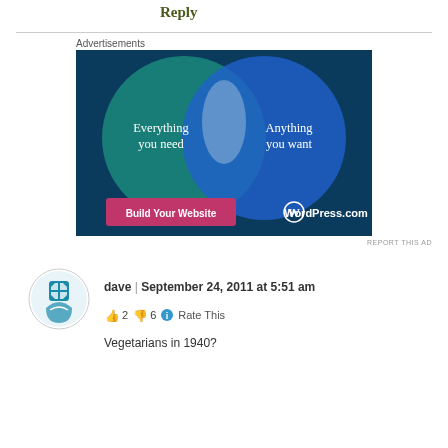Reply
[Figure (infographic): WordPress.com advertisement showing two overlapping circles (Venn diagram style) on a dark blue background. Left circle (teal/green) says 'Everything you need', right circle (blue) says 'Anything you want'. A pink button reads 'Build Your Website' and the WordPress.com logo appears in white.]
REPORT THIS AD
dave | September 24, 2011 at 5:51 am
👍 2 👎 6 ℹ Rate This
Vegetarians in 1940?